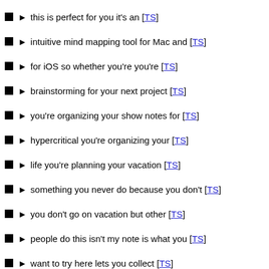► this is perfect for you it's an [TS]
► intuitive mind mapping tool for Mac and [TS]
► for iOS so whether you're you're [TS]
► brainstorming for your next project [TS]
► you're organizing your show notes for [TS]
► hypercritical you're organizing your [TS]
► life you're planning your vacation [TS]
► something you never do because you don't [TS]
► you don't go on vacation but other [TS]
► people do this isn't my note is what you [TS]
► want to try here lets you collect [TS]